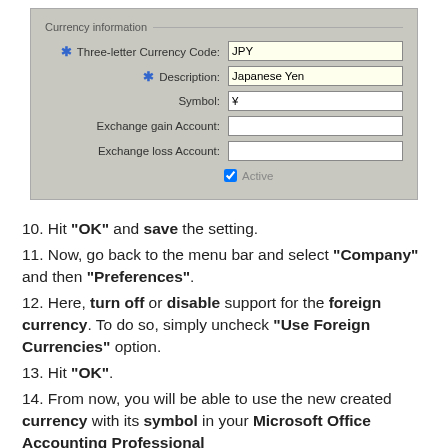[Figure (screenshot): Currency information form showing fields: Three-letter Currency Code (JPY), Description (Japanese Yen), Symbol (¥), Exchange gain Account (empty), Exchange loss Account (empty), and Active checkbox checked.]
10. Hit "OK" and save the setting.
11. Now, go back to the menu bar and select "Company" and then "Preferences".
12. Here, turn off or disable support for the foreign currency. To do so, simply uncheck "Use Foreign Currencies" option.
13. Hit "OK".
14. From now, you will be able to use the new created currency with its symbol in your Microsoft Office Accounting Professional